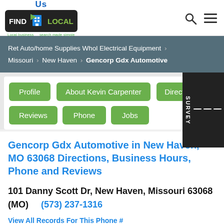Us FIND LOCAL - Local Business search made simple
Ret Auto/home Supplies Whol Electrical Equipment > Missouri > New Haven > Gencorp Gdx Automotive
Profile
About Kevin Carpenter
Directions
Reviews
Phone
Jobs
Gencorp Gdx Automotive in New Haven, MO 63068 Directions, Business Hours, Phone and Reviews
101 Danny Scott Dr, New Haven, Missouri 63068 (MO)   (573) 237-1316
View All Records For This Phone #